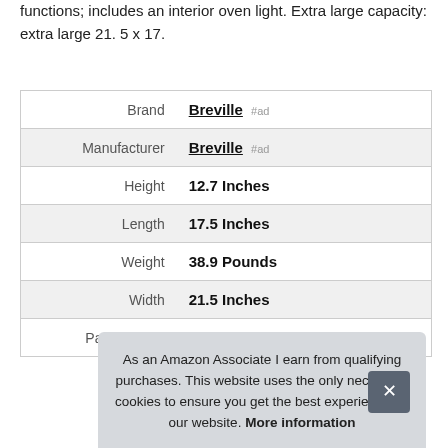functions; includes an interior oven light. Extra large capacity: extra large 21. 5 x 17.
| Property | Value |
| --- | --- |
| Brand | Breville #ad |
| Manufacturer | Breville #ad |
| Height | 12.7 Inches |
| Length | 17.5 Inches |
| Weight | 38.9 Pounds |
| Width | 21.5 Inches |
| Part Number | BOV900BSS |
As an Amazon Associate I earn from qualifying purchases. This website uses the only necessary cookies to ensure you get the best experience on our website. More information